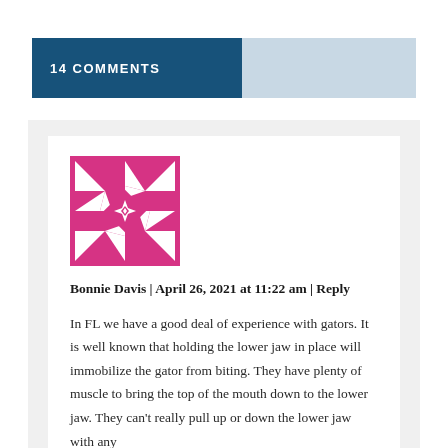14 COMMENTS
[Figure (illustration): Pink/magenta geometric avatar icon with star-like interlocking pattern on white background]
Bonnie Davis | April 26, 2021 at 11:22 am | Reply
In FL we have a good deal of experience with gators. It is well known that holding the lower jaw in place will immobilize the gator from biting. They have plenty of muscle to bring the top of the mouth down to the lower jaw. They can't really pull up or down the lower jaw with any